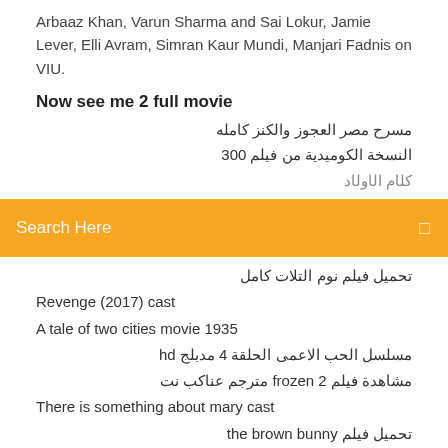Arbaaz Khan, Varun Sharma and Sai Lokur, Jamie Lever, Elli Avram, Simran Kaur Mundi, Manjari Fadnis on VIU.
Now see me 2 full movie
مسرح مصر العجوز والكنز كامله
النسخة الكوميدية من فيلم 300
[partial line cut off]
[Figure (screenshot): Orange search bar with placeholder text 'Search Here' and a small icon on the right]
تحميل فيلم نوم التلات كامل
Revenge (2017) cast
A tale of two cities movie 1935
مسلسل الحب الاعمى الحلقة 4 مدبلج hd
مشاهدة فيلم frozen 2 مترجم عناكب نت
There is something about mary cast
تحميل فيلم the brown bunny
Policeman mep
قط والفار عايزين القط والفار
تحميل اغنية منتدى شباب العالم mp3 2018